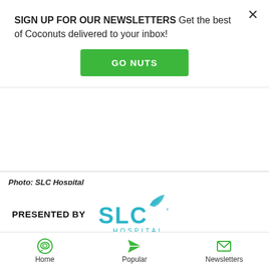SIGN UP FOR OUR NEWSLETTERS Get the best of Coconuts delivered to your inbox!
GO NUTS
Photo: SLC Hospital
[Figure (logo): PRESENTED BY SLC Hospital logo with teal/cyan colored SLC text and leaf graphic above, with HOSPITAL text below]
By Grove
Aug 19, 2022
6:26pm Bangkok time
Saying that cosmetic surgery is gaining popularity in
Home  Popular  Newsletters